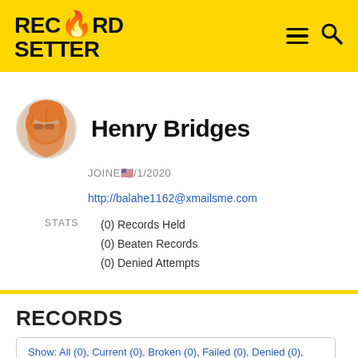RecordSetter
[Figure (logo): RecordSetter logo with flame icon]
Henry Bridges
JOINED 🇺🇸 1/1/2020
http://balahe1162@xmailsme.com
STATS
(0) Records Held
(0) Beaten Records
(0) Denied Attempts
RECORDS
Show: All (0), Current (0), Broken (0), Failed (0), Denied (0), Pending (0)